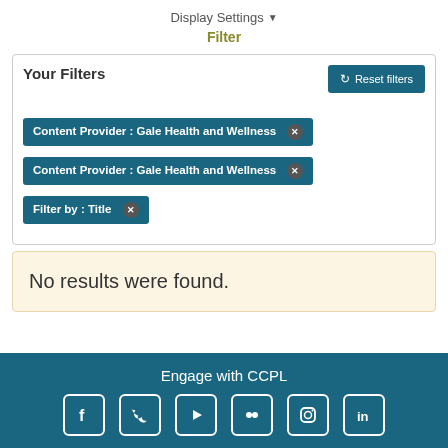Display Settings ▾
Filter
Your Filters
Reset filters
Content Provider : Gale Health and Wellness ×
Content Provider : Gale Health and Wellness ×
Filter by : Title ×
No results were found.
Engage with CCPL